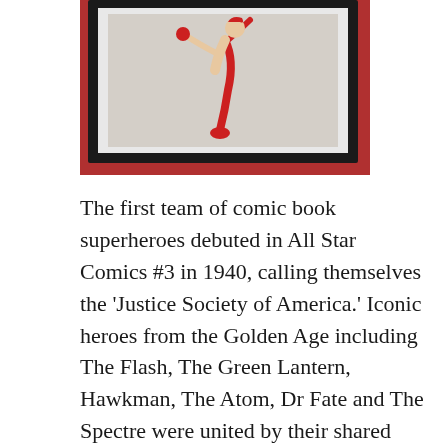[Figure (photo): A framed illustration/artwork showing a figure (appearing to be a comic book superhero) in red boots and costume, flying or leaping, displayed in a black frame against a red wall background.]
The first team of comic book superheroes debuted in All Star Comics #3 in 1940, calling themselves the 'Justice Society of America.' Iconic heroes from the Golden Age including The Flash, The Green Lantern, Hawkman, The Atom, Dr Fate and The Spectre were united by their shared values of justice and liberty. Their adventures were published until 1951, and then reappeared as the Justice League of America in the February/March issue of The Brave and The Bold in 1960. The team now consisted of